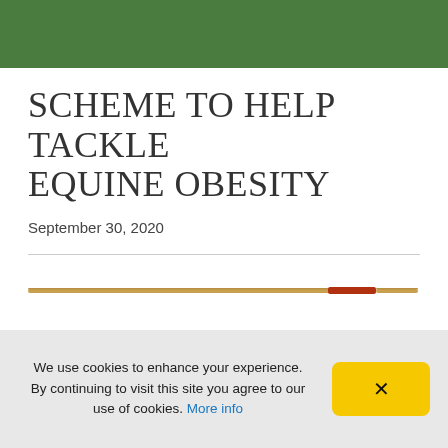SCHEME TO HELP TACKLE EQUINE OBESITY
September 30, 2020
[Figure (illustration): A horizontal decorative line/band in tan/gold and red colors, resembling a riding crop or whip against a white background.]
We use cookies to enhance your experience. By continuing to visit this site you agree to our use of cookies. More info